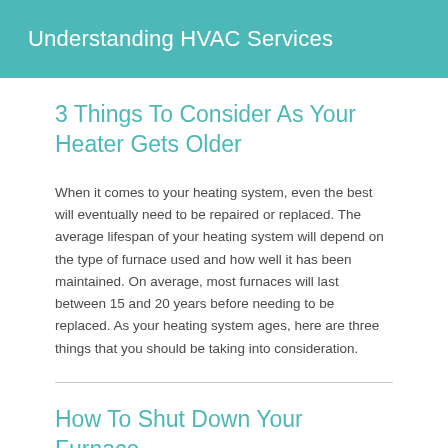Understanding HVAC Services
3 Things To Consider As Your Heater Gets Older
When it comes to your heating system, even the best will eventually need to be repaired or replaced. The average lifespan of your heating system will depend on the type of furnace used and how well it has been maintained. On average, most furnaces will last between 15 and 20 years before needing to be replaced. As your heating system ages, here are three things that you should be taking into consideration.
How To Shut Down Your Furnace